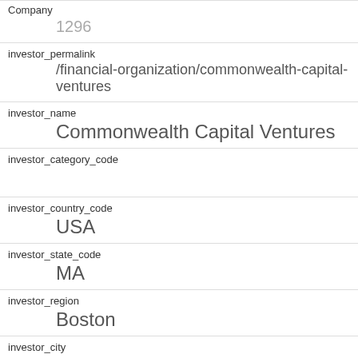| Field | Value |
| --- | --- |
| Company | 1296 |
| investor_permalink | /financial-organization/commonwealth-capital-ventures |
| investor_name | Commonwealth Capital Ventures |
| investor_category_code |  |
| investor_country_code | USA |
| investor_state_code | MA |
| investor_region | Boston |
| investor_city | Boston |
| funding_round_type | venture |
| funded_at | 1251244800 |